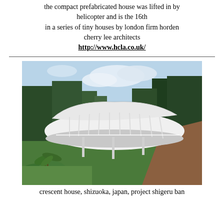the compact prefabricated house was lifted in by helicopter and is the 16th in a series of tiny houses by london firm horden cherry lee architects http://www.hcla.co.uk/
[Figure (photo): Exterior photograph of the Crescent House in Shizuoka, Japan — a curving white modernist structure elevated on pillars, surrounded by lush green trees and a hillside, with glass walls and a sweeping curved roof.]
crescent house, shizuoka, japan, project shigeru ban